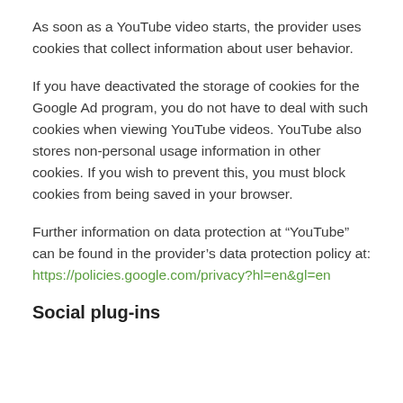As soon as a YouTube video starts, the provider uses cookies that collect information about user behavior.
If you have deactivated the storage of cookies for the Google Ad program, you do not have to deal with such cookies when viewing YouTube videos. YouTube also stores non-personal usage information in other cookies. If you wish to prevent this, you must block cookies from being saved in your browser.
Further information on data protection at “YouTube” can be found in the provider’s data protection policy at: https://policies.google.com/privacy?hl=en&gl=en
Social plug-ins